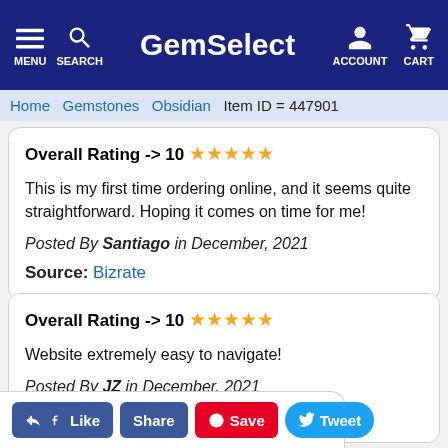GemSelect — MENU SEARCH ACCOUNT CART
Home > Gemstones > Obsidian  Item ID = 447901
Overall Rating -> 10 ★★★★★

This is my first time ordering online, and it seems quite straightforward. Hoping it comes on time for me!

Posted By Santiago in December, 2021

Source: Bizrate
Overall Rating -> 10 ★★★★★

Website extremely easy to navigate!

Posted By JZ in December, 2021

Source: Bizrate
Like  Share  Save  Tweet